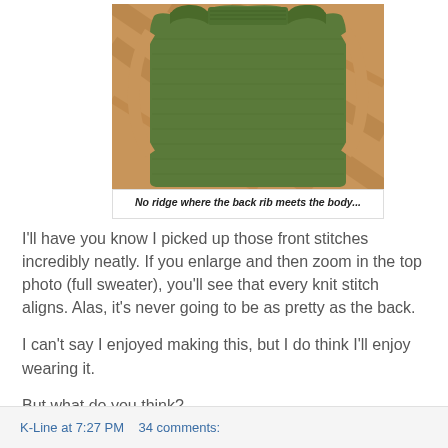[Figure (photo): Back of a green knitted sweater laid flat on a wooden floor surface, showing the back ribbing meeting the body with no visible ridge.]
No ridge where the back rib meets the body...
I'll have you know I picked up those front stitches incredibly neatly. If you enlarge and then zoom in the top photo (full sweater), you'll see that every knit stitch aligns. Alas, it's never going to be as pretty as the back.
I can't say I enjoyed making this, but I do think I'll enjoy wearing it.
But what do you think?
K-Line at 7:27 PM   34 comments: